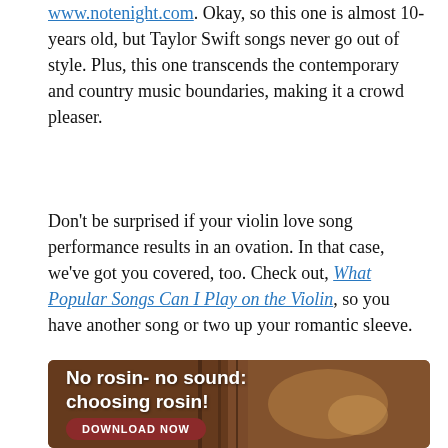www.notenight.com. Okay, so this one is almost 10-years old, but Taylor Swift songs never go out of style. Plus, this one transcends the contemporary and country music boundaries, making it a crowd pleaser.
Don't be surprised if your violin love song performance results in an ovation. In that case, we've got you covered, too. Check out, What Popular Songs Can I Play on the Violin, so you have another song or two up your romantic sleeve.
[Figure (illustration): Promotional banner image showing violin/cello players with text 'No rosin- no sound: choosing rosin!' and a 'DOWNLOAD NOW' button]